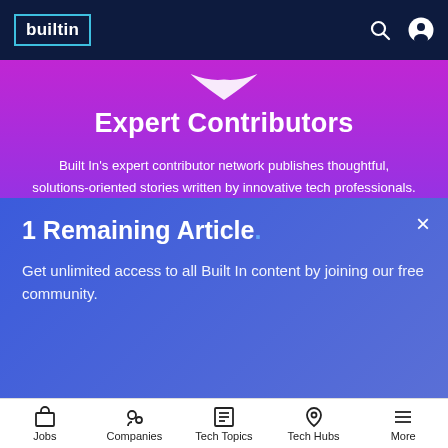Built In navigation bar
Expert Contributors
Built In's expert contributor network publishes thoughtful, solutions-oriented stories written by innovative tech professionals. It is the tech industry's definitive destination for sharing compelling, first-person accounts of problem-solving on the road to innovation.
LEARN MORE
1 Remaining Article.
Get unlimited access to all Built In content by joining our free community.
Jobs | Companies | Tech Topics | Tech Hubs | More